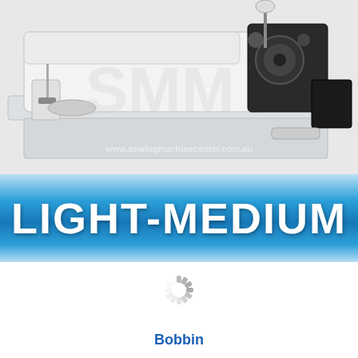[Figure (photo): Industrial sewing machine (light-medium duty) photographed from the side, white body, with needle, presser foot, thread guides, and handwheel visible. Watermark text 'www.sewingmachinecenter.com.au' overlaid.]
LIGHT-MEDIUM
[Figure (other): Loading spinner / activity indicator icon, circular segments in grey, indicating a loading state.]
Bobbin